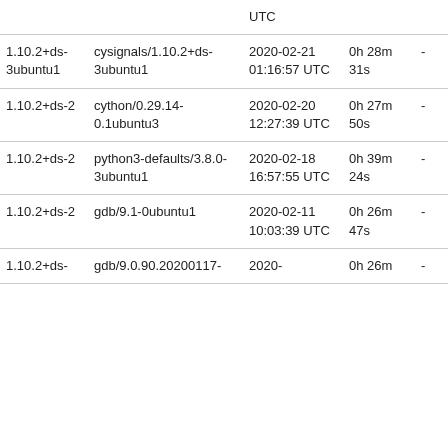|  |  | UTC |  |  |
| --- | --- | --- | --- | --- |
| 1.10.2+ds-3ubuntu1 | cysignals/1.10.2+ds-3ubuntu1 | 2020-02-21 01:16:57 UTC | 0h 28m 31s | - |
| 1.10.2+ds-2 | cython/0.29.14-0.1ubuntu3 | 2020-02-20 12:27:39 UTC | 0h 27m 50s | - |
| 1.10.2+ds-2 | python3-defaults/3.8.0-3ubuntu1 | 2020-02-18 16:57:55 UTC | 0h 39m 24s | - |
| 1.10.2+ds-2 | gdb/9.1-0ubuntu1 | 2020-02-11 10:03:39 UTC | 0h 26m 47s | - |
| 1.10.2+ds- | gdb/9.0.90.20200117- | 2020- | 0h 26m | - |